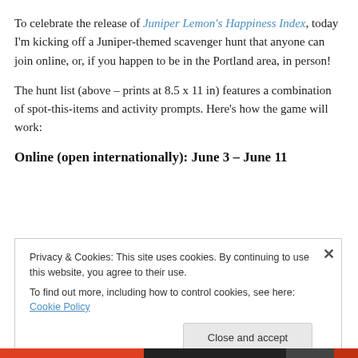To celebrate the release of Juniper Lemon's Happiness Index, today I'm kicking off a Juniper-themed scavenger hunt that anyone can join online, or, if you happen to be in the Portland area, in person!
The hunt list (above – prints at 8.5 x 11 in) features a combination of spot-this-items and activity prompts. Here's how the game will work:
Online (open internationally): June 3 – June 11
Privacy & Cookies: This site uses cookies. By continuing to use this website, you agree to their use.
To find out more, including how to control cookies, see here: Cookie Policy